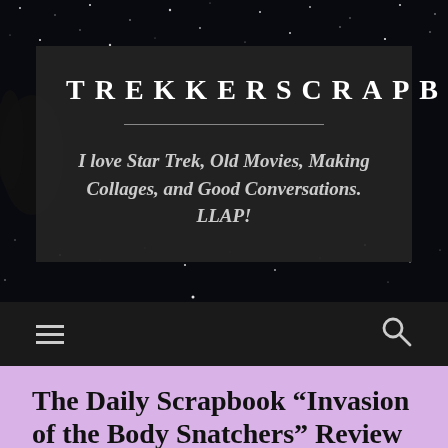TREKKERSCRAPBOOK
I love Star Trek, Old Movies, Making Collages, and Good Conversations. LLAP!
The Daily Scrapbook “Invasion of the Body Snatchers” Review